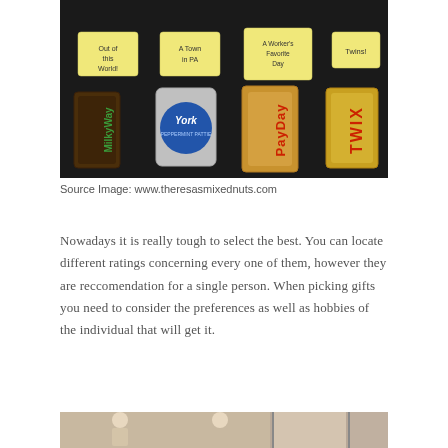[Figure (photo): Photo of candy bars (Milky Way, York, PayDay, Twix) laid on a dark surface with yellow sticky note labels reading 'Out of this World!', 'A Town in PA', 'A Worker's Favorite Day', 'Twins!']
Source Image: www.theresasmixednuts.com
Nowadays it is really tough to select the best. You can locate different ratings concerning every one of them, however they are reccomendation for a single person. When picking gifts you need to consider the preferences as well as hobbies of the individual that will get it.
[Figure (photo): Partial photo visible at the bottom of the page, showing people or figures]